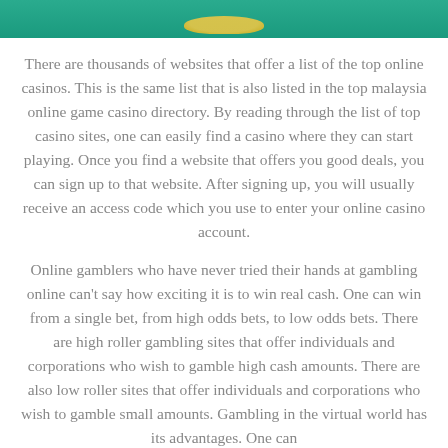[Figure (photo): Top image strip showing a teal/green casino-themed background with what appears to be a golden casino chip or coin element at the bottom center.]
There are thousands of websites that offer a list of the top online casinos. This is the same list that is also listed in the top malaysia online game casino directory. By reading through the list of top casino sites, one can easily find a casino where they can start playing. Once you find a website that offers you good deals, you can sign up to that website. After signing up, you will usually receive an access code which you use to enter your online casino account.
Online gamblers who have never tried their hands at gambling online can't say how exciting it is to win real cash. One can win from a single bet, from high odds bets, to low odds bets. There are high roller gambling sites that offer individuals and corporations who wish to gamble high cash amounts. There are also low roller sites that offer individuals and corporations who wish to gamble small amounts. Gambling in the virtual world has its advantages. One can